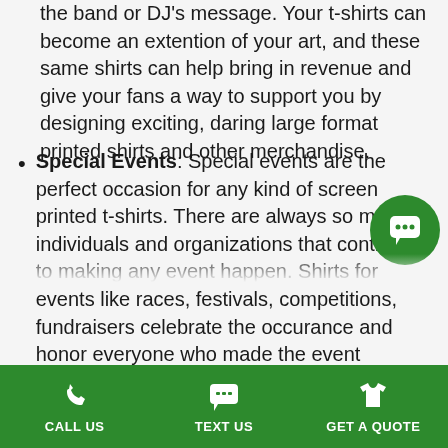the band or DJ's message. Your t-shirts can become an extention of your art, and these same shirts can help bring in revenue and give your fans a way to support you by designing exciting, daring large format printed shirts and other merchandise.
Special Events: Special events are the perfect occasion for any kind of screen printed t-shirts. There are always so many individuals and organizations that contribute to making any event happen. Shirts for events like races, festivals, competitions, fundraisers celebrate the occurance and honor everyone who made the event possible. Accomplish both with Cedar Hill, MO large format printing for your event t-shirts. Large format makes it possible for you to cleanly display all sponsor logos without cramming them together in tiny columns.
CALL US | TEXT US | GET A QUOTE